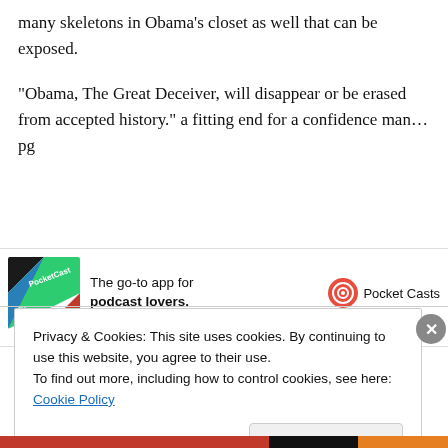many skeletons in Obama’s closet as well that can be exposed.
“Obama, The Great Deceiver, will disappear or be erased from accepted history.” a fitting end for a confidence man…pg
[Figure (infographic): Pocket Casts advertisement banner: logo image on left, text 'The go-to app for podcast lovers.' in center, Pocket Casts logo and name on right.]
Privacy & Cookies: This site uses cookies. By continuing to use this website, you agree to their use.
To find out more, including how to control cookies, see here: Cookie Policy
Close and accept